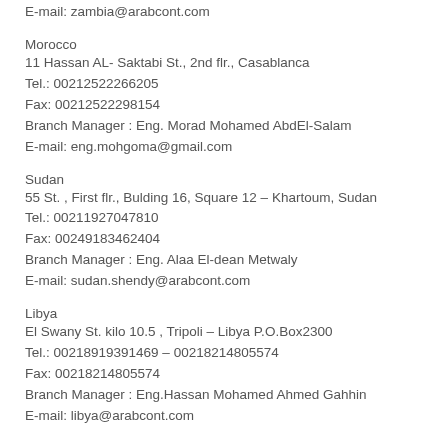E-mail: zambia@arabcont.com
Morocco
11 Hassan AL- Saktabi St., 2nd flr., Casablanca
Tel.: 00212522266205
Fax: 00212522298154
Branch Manager : Eng. Morad Mohamed AbdEl-Salam
E-mail: eng.mohgoma@gmail.com
Sudan
55 St. , First flr., Bulding 16, Square 12 – Khartoum, Sudan
Tel.: 00211927047810
Fax: 00249183462404
Branch Manager : Eng. Alaa El-dean Metwaly
E-mail: sudan.shendy@arabcont.com
Libya
El Swany St. kilo 10.5 , Tripoli – Libya P.O.Box2300
Tel.: 00218919391469 – 00218214805574
Fax: 00218214805574
Branch Manager : Eng.Hassan Mohamed Ahmed Gahhin
E-mail: libya@arabcont.com